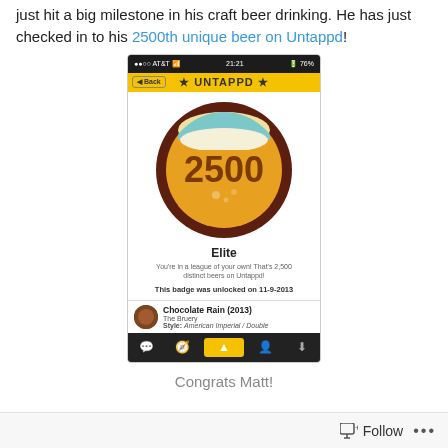just hit a big milestone in his craft beer drinking. He has just checked in to his 2500th unique beer on Untappd!
[Figure (screenshot): Screenshot of the Untappd mobile app showing a badge for 2500 unique beers. The badge shows a circular beer glass icon with the number 2500. Below the badge: title 'Elite', description 'You're in a league of your own! That's 2,500 distinct beers on Untappd!', and 'This badge was unlocked on 11-9-2013'. The bottom section shows the beer 'Chocolate Rain (2013)' by The Bruery, Style: American Imperial / Double.]
Congrats Matt!
Follow ...